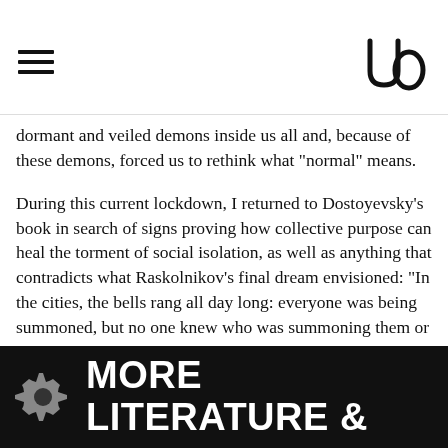Navigation menu and site logo
dormant and veiled demons inside us all and, because of these demons, forced us to rethink what "normal" means.
During this current lockdown, I returned to Dostoyevsky's book in search of signs proving how collective purpose can heal the torment of social isolation, as well as anything that contradicts what Raskolnikov's final dream envisioned: "In the cities, the bells rang all day long: everyone was being summoned, but no one knew who was summoning them or why."
MORE LITERATURE &